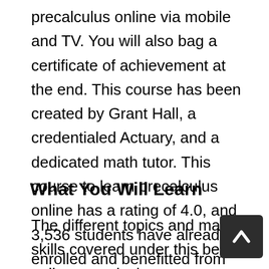precalculus online via mobile and TV. You will also bag a certificate of achievement at the end. This course has been created by Grant Hall, a credentialed Actuary, and a dedicated math tutor. This course to learn precalculus online has a rating of 4.0, and 3,536 students have already enrolled and benefitted from this course.
What You Will Learn
The different topics and math skills covered under this best online precalculus course are: